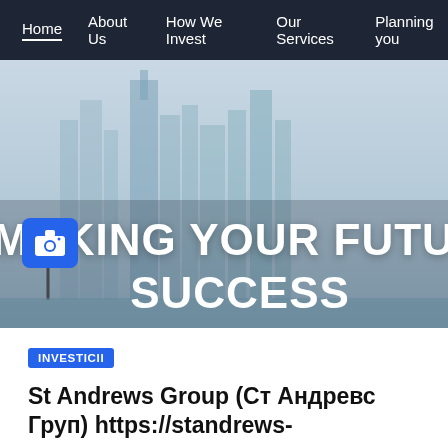Home | About Us | How We Invest | Our Services | Planning you
[Figure (photo): Hero image of a city skyline in a hazy/foggy atmosphere with tall skyscrapers. Overlaid text reads 'MAKING YOUR FUTUR SUCCESS' in large bold white letters. A blue camera icon button is visible on the lower left of the image.]
INVESTICII
St Andrews Group (Ст Андревс Груп) https://standrews-